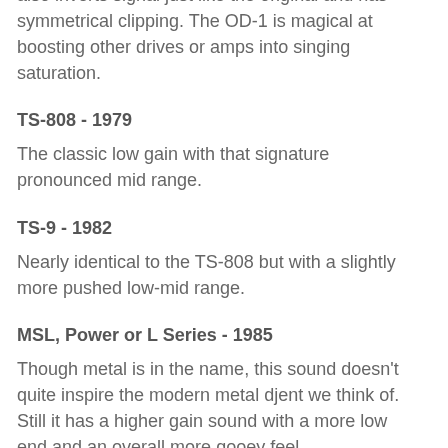also inverts signal just like the original and has symmetrical clipping. The OD-1 is magical at boosting other drives or amps into singing saturation.
TS-808 - 1979
The classic low gain with that signature pronounced mid range.
TS-9 - 1982
Nearly identical to the TS-808 but with a slightly more pushed low-mid range.
MSL, Power or L Series - 1985
Though metal is in the name, this sound doesn't quite inspire the modern metal djent we think of. Still it has a higher gain sound with a more low end and an overall more gooey feel.